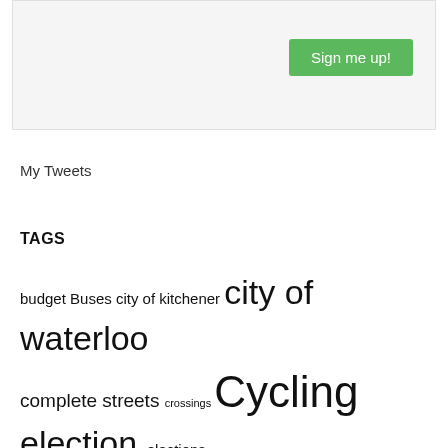[Figure (other): Sign me up button in a light gray box]
My Tweets
TAGS
budget Buses city of kitchener city of waterloo complete streets crossings Cycling election elections event fact check frequent service networks go transit GRT ION iron horse trail iXpress king street Light Rail meetings modal split ohtb ontario parking paths planning and works committee protected bike lanes public